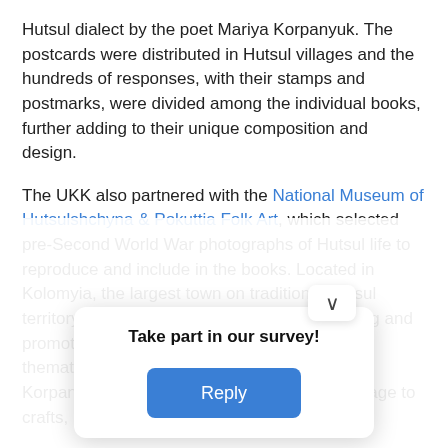Hutsul dialect by the poet Mariya Korpanyuk. The postcards were distributed in Hutsul villages and the hundreds of responses, with their stamps and postmarks, were divided among the individual books, further adding to their unique composition and design.
The UKK also partnered with the National Museum of Hutsulshchyna & Pokuttia Folk Art, which selected pre-Second World War photographs of Hutsul life to reproduce and include in the books. Located in Kolomyia, the largest town on traditional Hutsul territory, the museum is dedicated to preserving and promoting Hutsul culture. The photographs are thematically paired to speak to the themes of Korpanyuk's poems, from childhood and marriage to crafts, music and mushroom picking.
Discover more about the project in this interview with a colleague from the UKK on our blog.
Further information about the collections
From rare 16th-century books and banned texts pub… in volumes small eno… almanac and digital… the Ukrainian… d strength o… 00 items